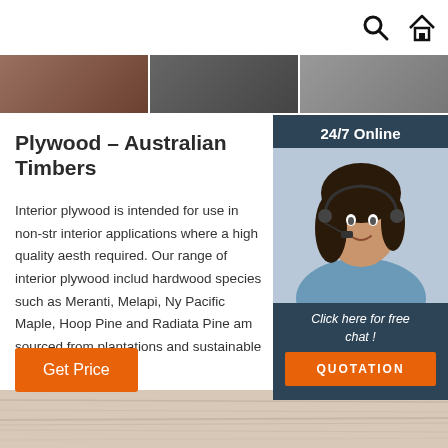[Figure (screenshot): Top navigation bar with search icon and home icon on white background]
[Figure (photo): Three product/interior photos in a horizontal strip at the top of the page]
[Figure (photo): Sidebar panel with dark blue background showing a customer service agent with headset, '24/7 Online' label, 'Click here for free chat!' text, and orange QUOTATION button]
Plywood – Australian Timbers
Interior plywood is intended for use in non-str interior applications where a high quality aest required. Our range of interior plywood includ hardwood species such as Meranti, Melapi, Ny Pacific Maple, Hoop Pine and Radiata Pine am sourced from plantations and sustainable fore overseas.
[Figure (other): Orange 'Get Price' button]
[Figure (other): Orange 'TOP' arrow/button icon]
[Figure (photo): Bottom image strip showing light wood grain texture]